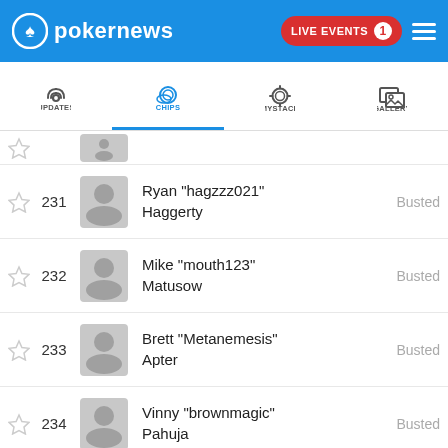pokernews - LIVE EVENTS 1
[Figure (screenshot): Navigation tabs: UPDATES, CHIPS (active), MYSTACK, GALLERY]
231 Ryan "hagzzz021" Haggerty - Busted
232 Mike "mouth123" Matusow - Busted
233 Brett "Metanemesis" Apter - Busted
234 Vinny "brownmagic" Pahuja - Busted
235 Don "blone2020" Himpele - Busted